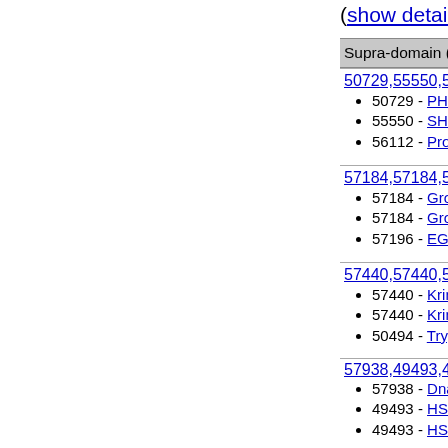(show details)
Supra-domain (Triple) in N- to C-terminal
50729,55550,56112 • 50729 - PH domain-like • 55550 - SH2 domain • 56112 - Protein kinase-like (PK-like)
57184,57184,57196 • 57184 - Growth factor receptor domain • 57184 - Growth factor receptor domain • 57196 - EGF/Laminin
57440,57440,50494 • 57440 - Kringle-like • 57440 - Kringle-like • 50494 - Trypsin-like serine proteases
57938,49493,49493 • 57938 - DnaJ/Hsp40 cysteine-rich domain • 49493 - HSP40/DnaJ peptide-binding domain • 49493 - HSP40/DnaJ peptide-binding domain
52540,50447,50465 • 52540 - P-loop containing nucleotide • 50447 - Translation proteins • 50465 - EF-Tu/eEF-1alpha/eIF2-gamma
49899,57196,49899